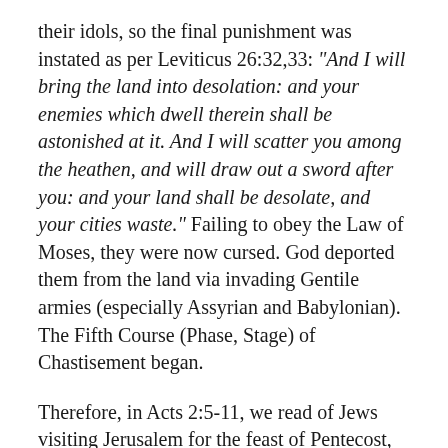their idols, so the final punishment was instated as per Leviticus 26:32,33: "And I will bring the land into desolation: and your enemies which dwell therein shall be astonished at it. And I will scatter you among the heathen, and will draw out a sword after you: and your land shall be desolate, and your cities waste." Failing to obey the Law of Moses, they were now cursed. God deported them from the land via invading Gentile armies (especially Assyrian and Babylonian). The Fifth Course (Phase, Stage) of Chastisement began.
Therefore, in Acts 2:5-11, we read of Jews visiting Jerusalem for the feast of Pentecost, these foreigners having come "out of every nation under heaven." In today's Scripture, Christ's earthly ministry, that global scattering of Israel has yet to be reversed. The nation must be revived and returned to live in the Promised Land, just (1) as (1)